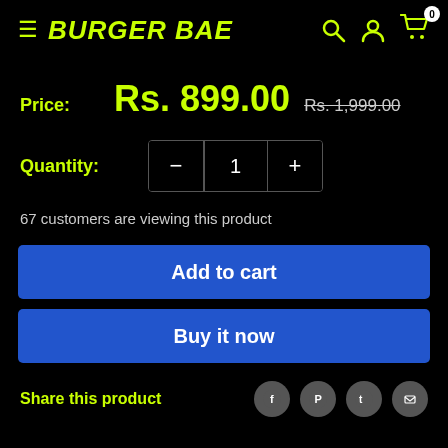BURGER BAE
Price: Rs. 899.00  Rs. 1,999.00
Quantity: 1
67 customers are viewing this product
Add to cart
Buy it now
Share this product